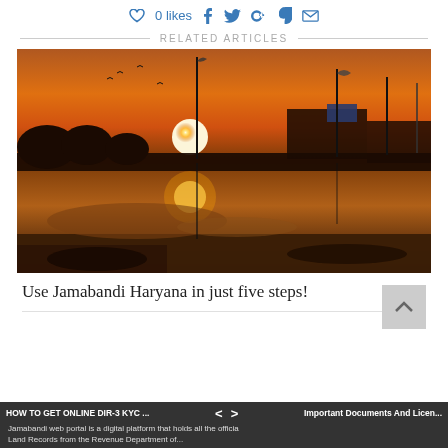0 likes  [social icons: facebook, twitter, google+, pinterest, email]
RELATED ARTICLES
[Figure (photo): Sunset photo with silhouettes of flags and buildings reflected in a puddle of water on the ground, orange sky]
Use Jamabandi Haryana in just five steps!
HOW TO GET ONLINE DIR-3 KYC ... [arrows] Important Documents And Licen... | Jamabandi web portal is a digital platform that holds all the official Land Records from the Revenue Department of...